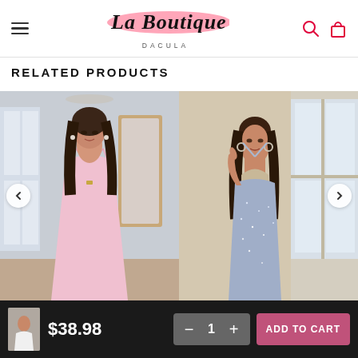La Boutique DACULA
RELATED PRODUCTS
[Figure (photo): Model wearing a pink deep-V spaghetti strap dress with flowing skirt, standing in front of a chandelier and mirror]
[Figure (photo): Model wearing a light blue sparkly halter neck cut-out bodycon dress, posing by a window]
$38.98
1
ADD TO CART